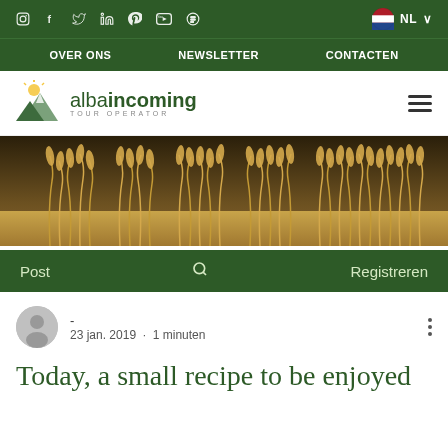Social icons bar: Instagram, Facebook, Twitter, LinkedIn, Pinterest, YouTube, Blog | NL language selector
OVER ONS  NEWSLETTER  CONTACTEN
[Figure (logo): Alba Incoming Tour Operator logo with mountain/sun graphic]
[Figure (photo): Photo of golden wheat/grass reeds in a field, landscape orientation]
Post  [search icon]  Registreren
- · 23 jan. 2019 · 1 minuten
Today, a small recipe to be enjoyed